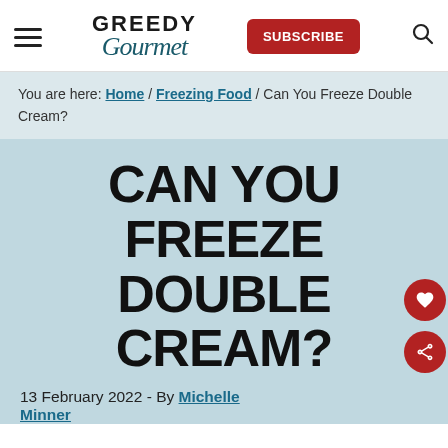GREEDY Gourmet — SUBSCRIBE
You are here: Home / Freezing Food / Can You Freeze Double Cream?
CAN YOU FREEZE DOUBLE CREAM?
13 February 2022 - By Michelle Minner